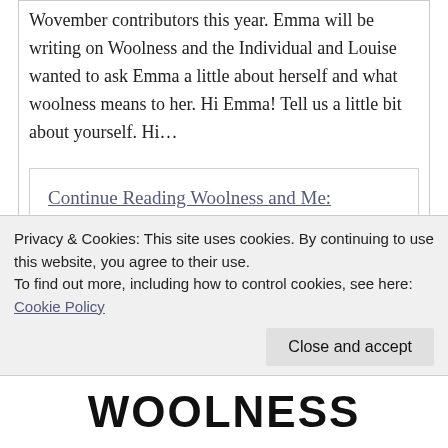Wovember contributors this year. Emma will be writing on Woolness and the Individual and Louise wanted to ask Emma a little about herself and what woolness means to her. Hi Emma! Tell us a little bit about yourself. Hi…
Continue Reading Woolness and Me: Introducing Emma Ross
Privacy & Cookies: This site uses cookies. By continuing to use this website, you agree to their use.
To find out more, including how to control cookies, see here: Cookie Policy
Close and accept
WOOLNESS